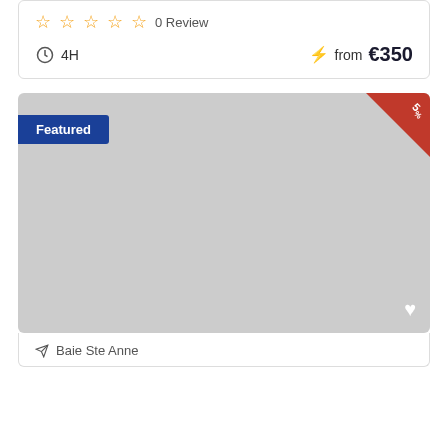0 Review
4H  ⚡ from €350
[Figure (photo): Gray placeholder image for a featured listing card with a blue 'Featured' badge on the left, a red 5% discount corner triangle on the top right, and a white heart icon at the bottom right.]
Baie Ste Anne